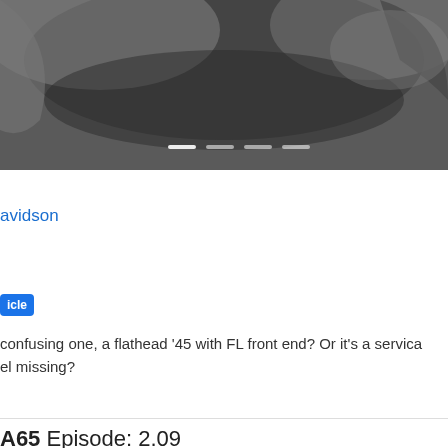[Figure (photo): Black and white photo of a dog (appears to be a German Shepherd or similar breed) with slide navigation dots at the bottom]
davidson
icle
confusing one, a flathead '45 with FL front end? Or it's a servica el missing?
A65 Episode: 2.09